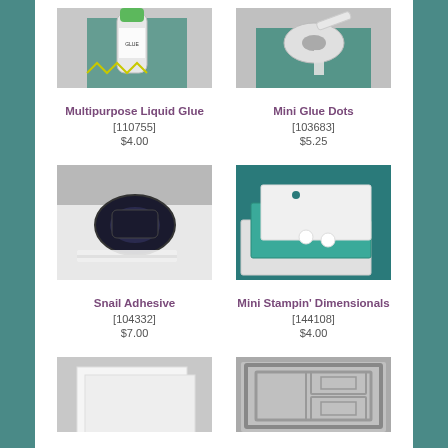[Figure (photo): Multipurpose Liquid Glue bottle on teal background, cropped at top]
[Figure (photo): Mini Glue Dots roll/tape on teal background, cropped at top]
Multipurpose Liquid Glue
[110755]
$4.00
Mini Glue Dots
[103683]
$5.25
[Figure (photo): Snail Adhesive dispenser on white background]
[Figure (photo): Mini Stampin' Dimensionals on teal and white paper backgrounds]
Snail Adhesive
[104332]
$7.00
Mini Stampin' Dimensionals
[144108]
$4.00
[Figure (photo): White cardstock sheets, partially visible at bottom]
[Figure (photo): Stampin' Trimmer or similar tool, partially visible at bottom]